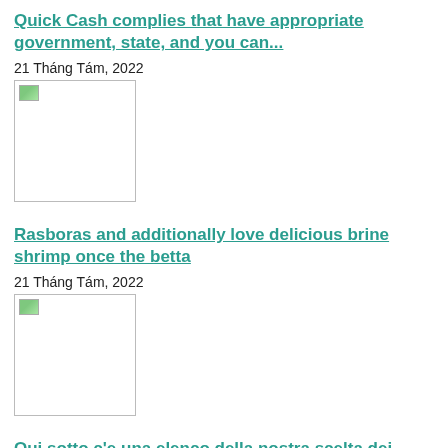Quick Cash complies that have appropriate government, state, and you can...
21 Tháng Tám, 2022
[Figure (photo): Placeholder image with broken image icon]
Rasboras and additionally love delicious brine shrimp once the betta
21 Tháng Tám, 2022
[Figure (photo): Placeholder image with broken image icon]
Qui sotto c'e una elenco della nostra scelta dei migliori siti...
21 Tháng Tám, 2022